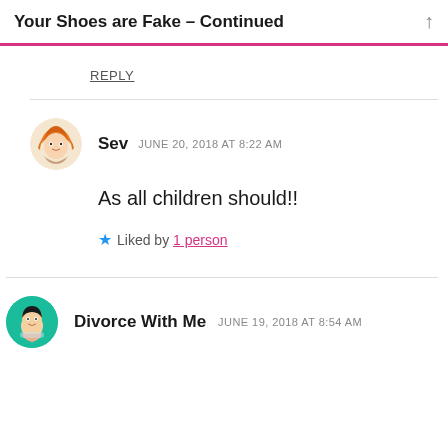Your Shoes are Fake – Continued
REPLY
Sev  JUNE 20, 2018 AT 8:22 AM
As all children should!!
Liked by 1 person
Divorce With Me  JUNE 19, 2018 AT 8:54 AM